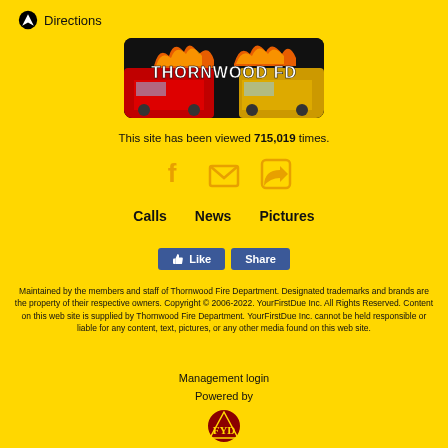Directions
[Figure (logo): Thornwood FD logo banner with fire trucks and flames text]
This site has been viewed 715,019 times.
[Figure (infographic): Social media icons: Facebook, email/envelope, RSS feed]
Calls   News   Pictures
[Figure (infographic): Facebook Like and Share buttons]
Maintained by the members and staff of Thornwood Fire Department. Designated trademarks and brands are the property of their respective owners. Copyright © 2006-2022. YourFirstDue Inc. All Rights Reserved. Content on this web site is supplied by Thornwood Fire Department. YourFirstDue Inc. cannot be held responsible or liable for any content, text, pictures, or any other media found on this web site.
Management login
Powered by
[Figure (logo): FYD (YourFirstDue) logo badge]